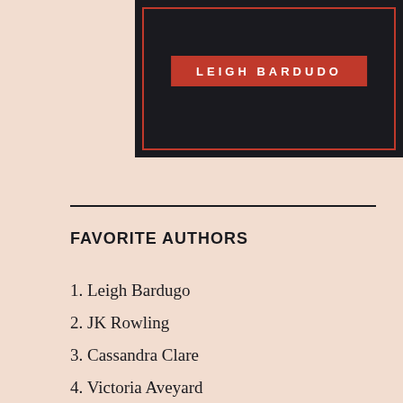[Figure (illustration): Book cover showing dark background with red border and red badge reading LEIGH BARDUDO in white uppercase letters]
FAVORITE AUTHORS
1. Leigh Bardugo
2. JK Rowling
3. Cassandra Clare
4. Victoria Aveyard
5. Jeanne Birdsall
6. Marissa Meyer